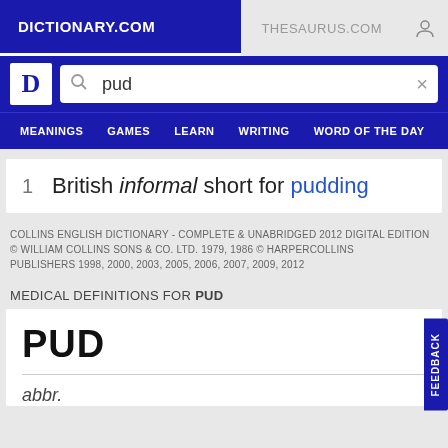DICTIONARY.COM | THESAURUS.COM
[Figure (screenshot): Dictionary.com website header with search bar showing 'pud' query]
1  British informal short for pudding
COLLINS ENGLISH DICTIONARY - COMPLETE & UNABRIDGED 2012 DIGITAL EDITION
© WILLIAM COLLINS SONS & CO. LTD. 1979, 1986 © HARPERCOLLINS PUBLISHERS 1998, 2000, 2003, 2005, 2006, 2007, 2009, 2012
MEDICAL DEFINITIONS FOR PUD
PUD
abbr.